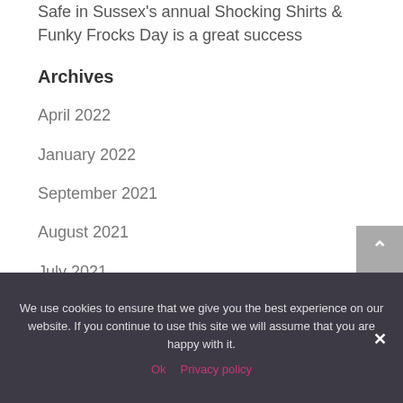Safe in Sussex's annual Shocking Shirts & Funky Frocks Day is a great success
Archives
April 2022
January 2022
September 2021
August 2021
July 2021
May 2021
We use cookies to ensure that we give you the best experience on our website. If you continue to use this site we will assume that you are happy with it.
Ok   Privacy policy